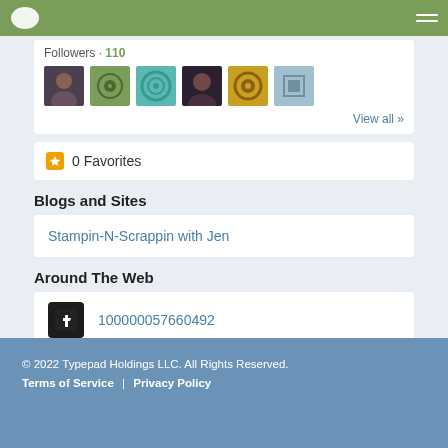Typepad navigation bar
Followers · 110
[Figure (photo): Six follower avatar thumbnails]
View all »
0 Favorites
Blogs and Sites
Stampin-N-Scrappin with Jen
Around The Web
100000057660492
© 2022 Typepad Holdings LLC. All Rights Reserved.
Terms of Service | Privacy Policy